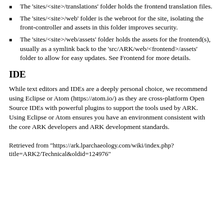The 'sites/<site>/translations' folder holds the frontend translation files.
The 'sites/<site>/web' folder is the webroot for the site, isolating the front-controller and assets in this folder improves security.
The 'sites/<site>/web/assets' folder holds the assets for the frontend(s), usually as a symlink back to the 'src/ARK/web/<frontend>/assets' folder to allow for easy updates. See Frontend for more details.
IDE
While text editors and IDEs are a deeply personal choice, we recommend using Eclipse or Atom (https://atom.io/) as they are cross-platform Open Source IDEs with powerful plugins to support the tools used by ARK. Using Eclipse or Atom ensures you have an environment consistent with the core ARK developers and ARK development standards.
Retrieved from "https://ark.lparchaeology.com/wiki/index.php?title=ARK2/Technical&oldid=124976"